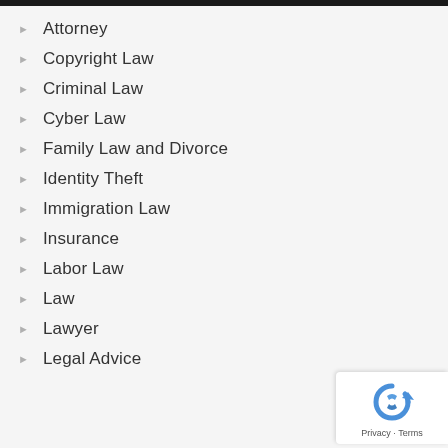Attorney
Copyright Law
Criminal Law
Cyber Law
Family Law and Divorce
Identity Theft
Immigration Law
Insurance
Labor Law
Law
Lawyer
Legal Advice
[Figure (logo): reCAPTCHA privacy badge with Privacy - Terms text]